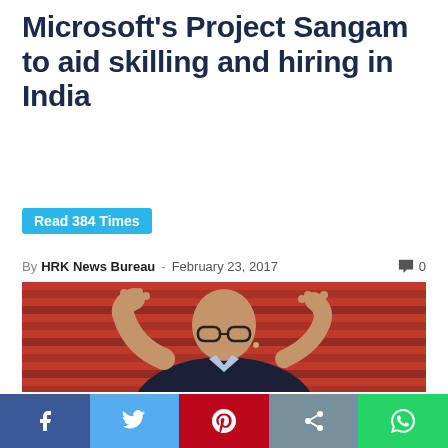Microsoft's Project Sangam to aid skilling and hiring in India
Read 384 Times
By HRK News Bureau - February 23, 2017  💬 0
[Figure (photo): Man in dark blazer with glasses gesturing with both hands raised, speaking against a red curtain background. Appears to be Satya Nadella, Microsoft CEO.]
Social sharing bar: Facebook, Twitter, Pinterest, Share, WhatsApp